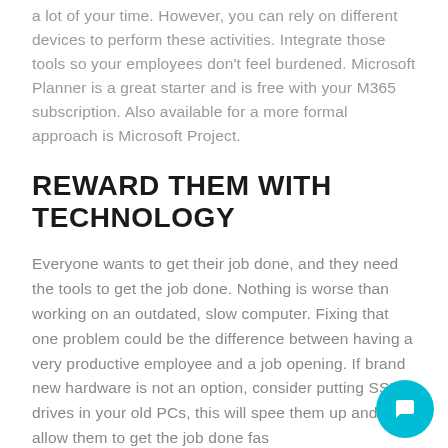a lot of your time. However, you can rely on different devices to perform these activities. Integrate those tools so your employees don't feel burdened. Microsoft Planner is a great starter and is free with your M365 subscription. Also available for a more formal approach is Microsoft Project.
REWARD THEM WITH TECHNOLOGY
Everyone wants to get their job done, and they need the tools to get the job done. Nothing is worse than working on an outdated, slow computer. Fixing that one problem could be the difference between having a very productive employee and a job opening. If brand new hardware is not an option, consider putting SSD drives in your old PCs, this will speed them up and allow them to get the job done fas…
Other great ways to reward them with technology